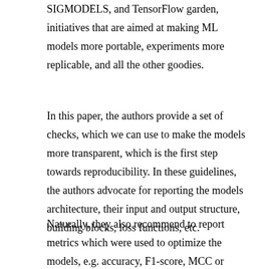SIGMODELS, and TensorFlow garden, initiatives that are aimed at making ML models more portable, experiments more replicable, and all the other goodies.
In this paper, the authors provide a set of checks, which we can use to make the models more transparent, which is the first step towards reproducibility. In these guidelines, the authors advocate for reporting the models architecture, their input and output structure, building blocks, loss functions, etc.
Naturally, they also recommend to report metrics which were used to optimize the models, e.g. accuracy, F1-score, MCC or others. I know, these are probably essentials, but you would be surprised to see that many authors do not really report these metrics. If they are omitted, then how do we know if the metrics were just so poor that the authors omitted them (low performance of the model) or that they are not relevant (low